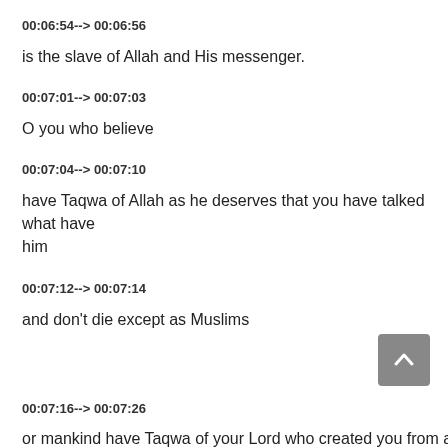00:06:54--> 00:06:56
is the slave of Allah and His messenger.
00:07:01--> 00:07:03
O you who believe
00:07:04--> 00:07:10
have Taqwa of Allah as he deserves that you have talked what have him
00:07:12--> 00:07:14
and don't die except as Muslims
00:07:16--> 00:07:26
or mankind have Taqwa of your Lord who created you from a single